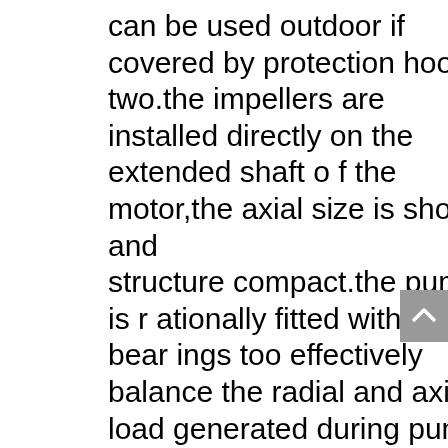can be used outdoor if covered by protection hood. two.the impellers are installed directly on the extended shaft of the motor,the axial size is short and structure compact.the pump is rationally fitted with motor bearings too effectively balance the radial and axial load generated during pump operation,thus to guarantee the stable pump running  low vibration and noise. 3.the shaft is sealed mechanically or with mechanic sealing set.the sealing rings are made of titanium alloy.it is medium-size and high